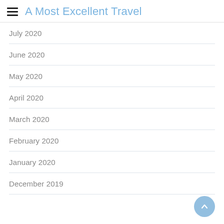A Most Excellent Travel
July 2020
June 2020
May 2020
April 2020
March 2020
February 2020
January 2020
December 2019